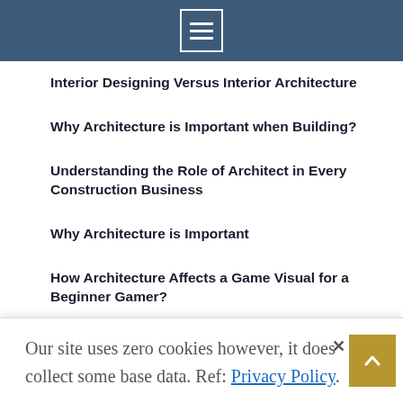[hamburger menu icon]
Interior Designing Versus Interior Architecture
Why Architecture is Important when Building?
Understanding the Role of Architect in Every Construction Business
Why Architecture is Important
How Architecture Affects a Game Visual for a Beginner Gamer?
Our site uses zero cookies however, it does collect some base data. Ref: Privacy Policy.